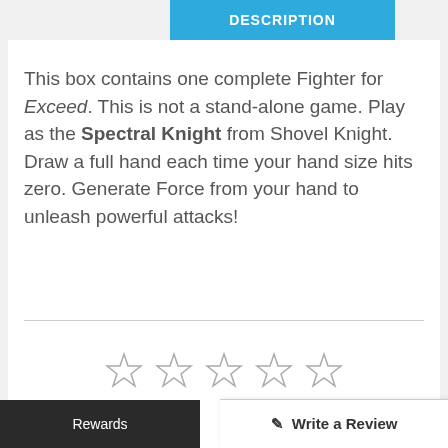DESCRIPTION
This box contains one complete Fighter for Exceed. This is not a stand-alone game. Play as the Spectral Knight from Shovel Knight. Draw a full hand each time your hand size hits zero. Generate Force from your hand to unleash powerful attacks!
[Figure (other): Five empty star rating icons in a row]
[Figure (other): Write a Review button with pencil icon]
Rewards